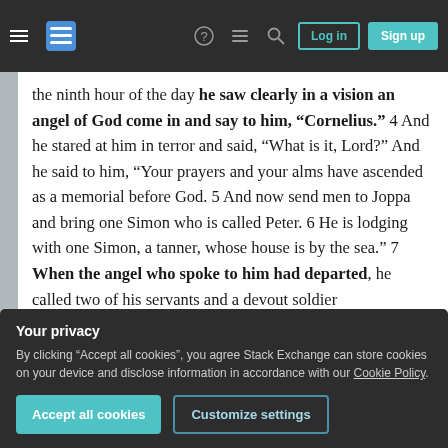Stack Exchange navigation bar with hamburger menu, logo, help, chat, search icons, Log in and Sign up buttons
the ninth hour of the day he saw clearly in a vision an angel of God come in and say to him, “Cornelius.” 4 And he stared at him in terror and said, “What is it, Lord?” And he said to him, “Your prayers and your alms have ascended as a memorial before God. 5 And now send men to Joppa and bring one Simon who is called Peter. 6 He is lodging with one Simon, a tanner, whose house is by the sea.” 7 When the angel who spoke to him had departed, he called two of his servants and a devout soldier
Your privacy
By clicking “Accept all cookies”, you agree Stack Exchange can store cookies on your device and disclose information in accordance with our Cookie Policy.
Accept all cookies   Customize settings